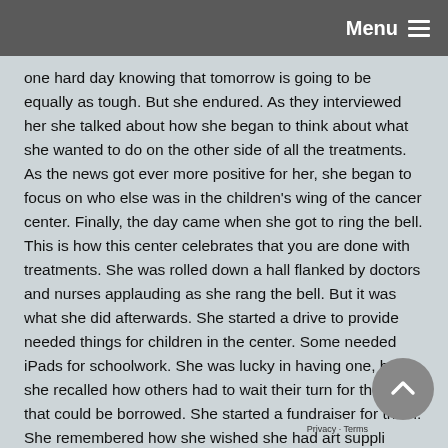Menu
one hard day knowing that tomorrow is going to be equally as tough. But she endured. As they interviewed her she talked about how she began to think about what she wanted to do on the other side of all the treatments. As the news got ever more positive for her, she began to focus on who else was in the children's wing of the cancer center. Finally, the day came when she got to ring the bell. This is how this center celebrates that you are done with treatments. She was rolled down a hall flanked by doctors and nurses applauding as she rang the bell. But it was what she did afterwards. She started a drive to provide needed things for children in the center. Some needed iPads for schoolwork. She was lucky in having one, but she recalled how others had to wait their turn for the few that could be borrowed. She started a fundraiser for them. She remembered how she wished she had art supplies and asked for donations. She was doing bake sales, lemonade stands and more to raise funds to help others. That is the kind